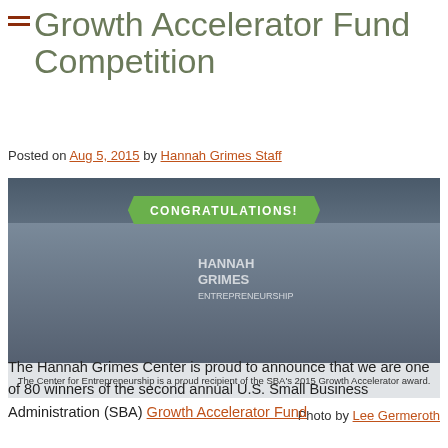Growth Accelerator Fund Competition
Posted on Aug 5, 2015 by Hannah Grimes Staff
[Figure (photo): Group photo of Hannah Grimes Center staff in front of building with a green 'CONGRATULATIONS!' banner. Caption: The Center for Entrepreneurship is a proud recipient of the SBA's 2015 Growth Accelerator award.]
Photo by Lee Germeroth
The Hannah Grimes Center is proud to announce that we are one of 80 winners of the second annual U.S. Small Business Administration (SBA) Growth Accelerator Fund